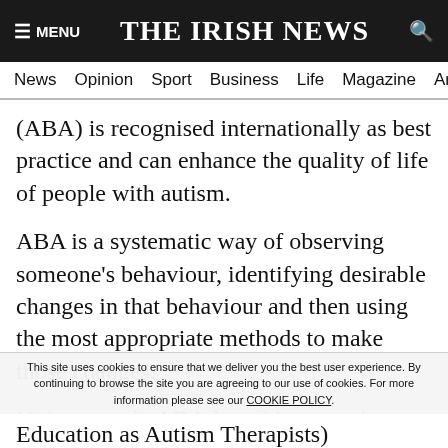≡ MENU  THE IRISH NEWS  🔍
News  Opinion  Sport  Business  Life  Magazine  Arts
(ABA) is recognised internationally as best practice and can enhance the quality of life of people with autism.
ABA is a systematic way of observing someone's behaviour, identifying desirable changes in that behaviour and then using the most appropriate methods to make those changes.
Unfortunately ABA-based interventions are not available in the north's health service but one charity which uses it as a method for changing the patterns of
Education as Autism Therapists)
This site uses cookies to ensure that we deliver you the best user experience. By continuing to browse the site you are agreeing to our use of cookies. For more information please see our COOKIE POLICY.